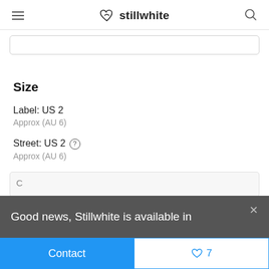stillwhite
Size
Label: US 2
Approx (AU 6)
Street: US 2
Approx (AU 6)
Good news, Stillwhite is available in
Contact
7